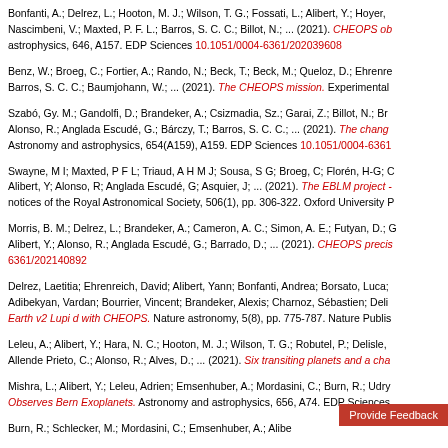Bonfanti, A.; Delrez, L.; Hooton, M. J.; Wilson, T. G.; Fossati, L.; Alibert, Y.; Hoyer, ...; Nascimbeni, V.; Maxted, P. F. L.; Barros, S. C. C.; Billot, N.; ... (2021). CHEOPS ob... astrophysics, 646, A157. EDP Sciences 10.1051/0004-6361/202039608
Benz, W.; Broeg, C.; Fortier, A.; Rando, N.; Beck, T.; Beck, M.; Queloz, D.; Ehrenre...; Barros, S. C. C.; Baumjohann, W.; ... (2021). The CHEOPS mission. Experimental...
Szabó, Gy. M.; Gandolfi, D.; Brandeker, A.; Csizmadia, Sz.; Garai, Z.; Billot, N.; Br...; Alonso, R.; Anglada Escudé, G.; Bárczy, T.; Barros, S. C. C.; ... (2021). The chang... Astronomy and astrophysics, 654(A159), A159. EDP Sciences 10.1051/0004-6361...
Swayne, M I; Maxted, P F L; Triaud, A H M J; Sousa, S G; Broeg, C; Florén, H-G; ...; Alibert, Y; Alonso, R; Anglada Escudé, G; Asquier, J; ... (2021). The EBLM project -... notices of the Royal Astronomical Society, 506(1), pp. 306-322. Oxford University P...
Morris, B. M.; Delrez, L.; Brandeker, A.; Cameron, A. C.; Simon, A. E.; Futyan, D.; ...; Alibert, Y.; Alonso, R.; Anglada Escudé, G.; Barrado, D.; ... (2021). CHEOPS precis... 6361/202140892
Delrez, Laetitia; Ehrenreich, David; Alibert, Yann; Bonfanti, Andrea; Borsato, Luca;...; Adibekyan, Vardan; Bourrier, Vincent; Brandeker, Alexis; Charnoz, Sébastien; Deli... Earth v2 Lupi d with CHEOPS. Nature astronomy, 5(8), pp. 775-787. Nature Publis...
Leleu, A.; Alibert, Y.; Hara, N. C.; Hooton, M. J.; Wilson, T. G.; Robutel, P.; Delisle,...; Allende Prieto, C.; Alonso, R.; Alves, D.; ... (2021). Six transiting planets and a cha...
Mishra, L.; Alibert, Y.; Leleu, Adrien; Emsenhuber, A.; Mordasini, C.; Burn, R.; Udry... Observes Bern Exoplanets. Astronomy and astrophysics, 656, A74. EDP Sciences...
Burn, R.; Schlecker, M.; Mordasini, C.; Emsenhuber, A.; Alibert...